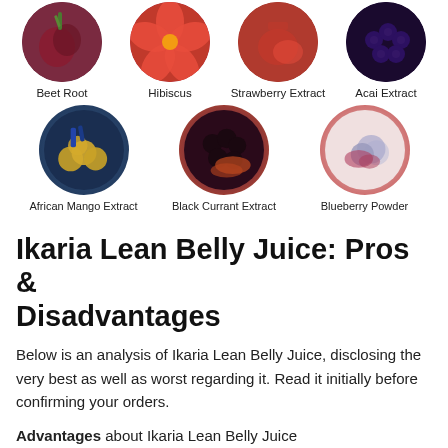[Figure (illustration): Row of four circular ingredient images: Beet Root, Hibiscus, Strawberry Extract, Acai Extract]
Beet Root   Hibiscus   Strawberry Extract   Acai Extract
[Figure (illustration): Row of three circular ingredient images: African Mango Extract, Black Currant Extract, Blueberry Powder]
African Mango Extract   Black Currant Extract   Blueberry Powder
Ikaria Lean Belly Juice: Pros & Disadvantages
Below is an analysis of Ikaria Lean Belly Juice, disclosing the very best as well as worst regarding it. Read it initially before confirming your orders.
Advantages about Ikaria Lean Belly Juice